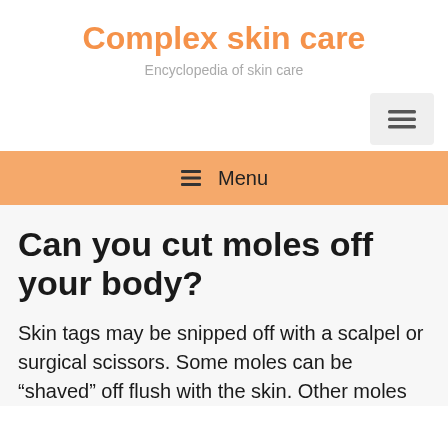Complex skin care
Encyclopedia of skin care
[Figure (other): Menu/hamburger button icon in light gray box]
☰ Menu
Can you cut moles off your body?
Skin tags may be snipped off with a scalpel or surgical scissors. Some moles can be "shaved" off flush with the skin. Other moles